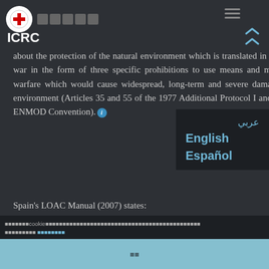ICRC
about the protection of the natural environment which is translated in the law of war in the form of three specific prohibitions to use means and methods of warfare which would cause widespread, long-term and severe damage to the environment (Articles 35 and 55 of the 1977 Additional Protocol I and the 1976 ENMOD Convention).
Spain's LOAC Manual (2007) states:
Current concern over the protection of the natural environment is
cookie [cookie notice text in non-Latin script]